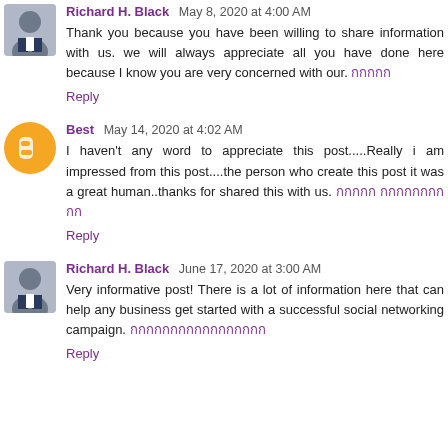Richard H. Black May 8, 2020 at 4:00 AM — Thank you because you have been willing to share information with us. we will always appreciate all you have done here because I know you are very concerned with our. [Thai text]
Reply
Best May 14, 2020 at 4:02 AM — I haven't any word to appreciate this post.....Really i am impressed from this post....the person who create this post it was a great human..thanks for shared this with us. [Thai text]
Reply
Richard H. Black June 17, 2020 at 3:00 AM — Very informative post! There is a lot of information here that can help any business get started with a successful social networking campaign. [Thai text]
Reply